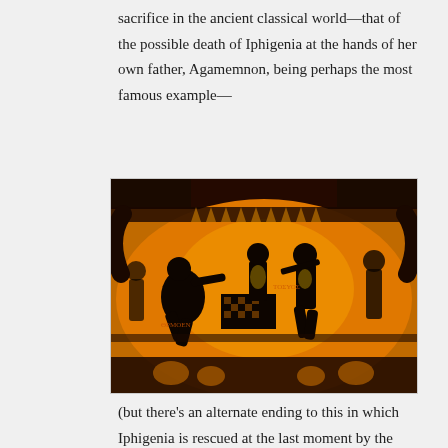sacrifice in the ancient classical world—that of the possible death of Iphigenia at the hands of her own father, Agamemnon, being perhaps the most famous example—
[Figure (photo): Ancient Greek black-figure pottery (amphora) depicting a sacrificial scene, likely the sacrifice of Iphigenia. Orange/amber background with black silhouetted figures around an altar. Figures include a crouching person on the left, a central figure on the altar, and a standing figure with a weapon on the right. Decorative bands at top and bottom with palmette motifs. Handles visible on left and right.]
(but there's an alternate ending to this in which Iphigenia is rescued at the last moment by the goddess Artemis, and carried off to become her priestess far from her father—who is himself